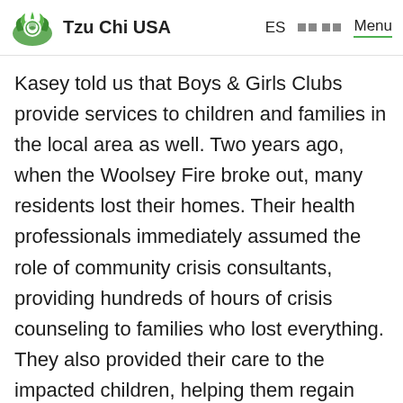Tzu Chi USA  ES  Menu
Kasey told us that Boys & Girls Clubs provide services to children and families in the local area as well. Two years ago, when the Woolsey Fire broke out, many residents lost their homes. Their health professionals immediately assumed the role of community crisis consultants, providing hundreds of hours of crisis counseling to families who lost everything. They also provided their care to the impacted children, helping them regain peace of mind. Since then, they have been serving as a health center to provide mental health and protection to the entire community.